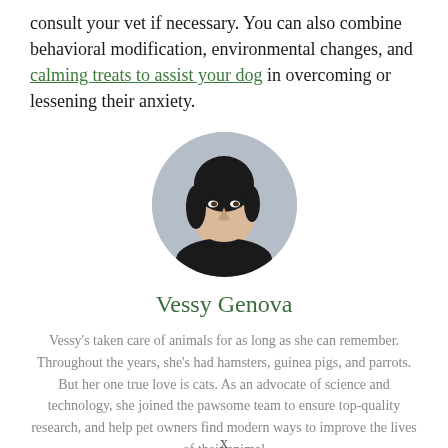consult your vet if necessary. You can also combine behavioral modification, environmental changes, and calming treats to assist your dog in overcoming or lessening their anxiety.
[Figure (photo): Circular portrait photo of a young woman with dark hair, wearing a black top, against a grey background.]
Vessy Genova
Vessy's taken care of animals for as long as she can remember. Throughout the years, she's had hamsters, guinea pigs, and parrots. But her one true love is cats. As an advocate of science and technology, she joined the pawsome team to ensure top-quality research, and help pet owners find modern ways to improve the lives of their animal
x